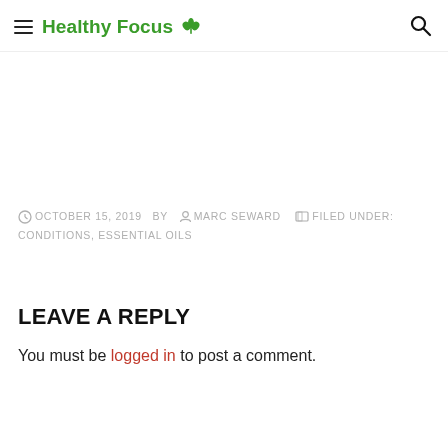Healthy Focus
OCTOBER 15, 2019  BY  MARC SEWARD  FILED UNDER: CONDITIONS, ESSENTIAL OILS
LEAVE A REPLY
You must be logged in to post a comment.